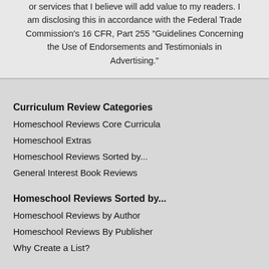or services that I believe will add value to my readers. I am disclosing this in accordance with the Federal Trade Commission's 16 CFR, Part 255 "Guidelines Concerning the Use of Endorsements and Testimonials in Advertising."
Curriculum Review Categories
Homeschool Reviews Core Curricula
Homeschool Extras
Homeschool Reviews Sorted by...
General Interest Book Reviews
Homeschool Reviews Sorted by...
Homeschool Reviews by Author
Homeschool Reviews By Publisher
Why Create a List?
Site information